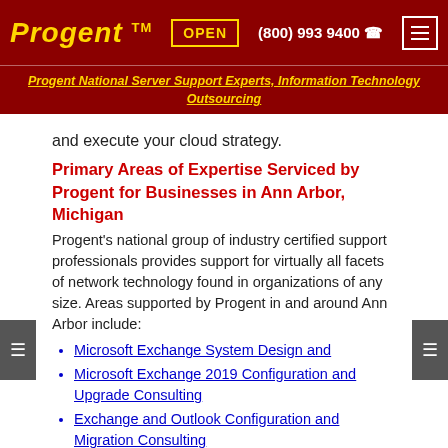Progent™  OPEN  (800) 993 9400  ☎
Progent National Server Support Experts, Information Technology Outsourcing
and execute your cloud strategy.
Primary Areas of Expertise Serviced by Progent for Businesses in Ann Arbor, Michigan
Progent's national group of industry certified support professionals provides support for virtually all facets of network technology found in organizations of any size. Areas supported by Progent in and around Ann Arbor include:
Microsoft Exchange System Design and
Microsoft Exchange 2019 Configuration and Upgrade Consulting
Exchange and Outlook Configuration and Migration Consulting
Windows Server 2012 R2 Configuration